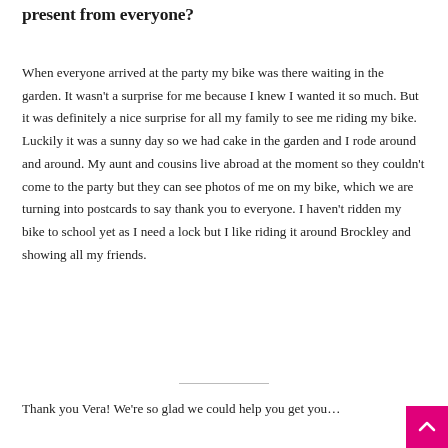present from everyone?
When everyone arrived at the party my bike was there waiting in the garden. It wasn't a surprise for me because I knew I wanted it so much. But it was definitely a nice surprise for all my family to see me riding my bike. Luckily it was a sunny day so we had cake in the garden and I rode around and around. My aunt and cousins live abroad at the moment so they couldn't come to the party but they can see photos of me on my bike, which we are turning into postcards to say thank you to everyone. I haven't ridden my bike to school yet as I need a lock but I like riding it around Brockley and showing all my friends.
Thank you Vera! We're so glad we could help you get you…